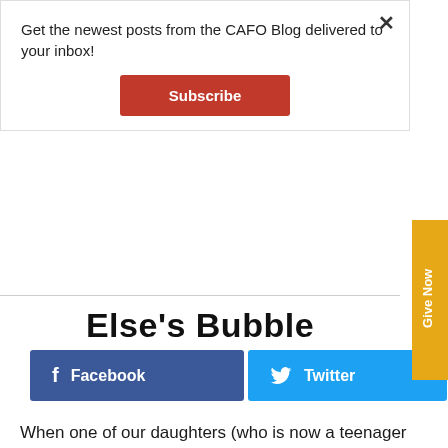Get the newest posts from the CAFO Blog delivered to your inbox!
Subscribe
Else's Bubble
[Figure (screenshot): Facebook and Twitter social share buttons]
When one of our daughters (who is now a teenager and has approved this post) was little, she had a tendency to invade people's personal space.  She had developed some sensory issues and was always seeking sensory input. From dragging her hands across the entire length of the glass case at the supermarket deli to spinning around incessantly, she